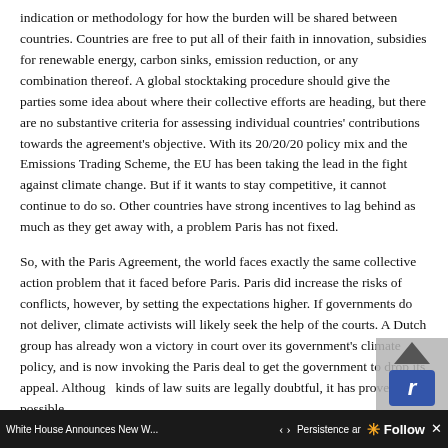indication or methodology for how the burden will be shared between countries. Countries are free to put all of their faith in innovation, subsidies for renewable energy, carbon sinks, emission reduction, or any combination thereof. A global stocktaking procedure should give the parties some idea about where their collective efforts are heading, but there are no substantive criteria for assessing individual countries' contributions towards the agreement's objective. With its 20/20/20 policy mix and the Emissions Trading Scheme, the EU has been taking the lead in the fight against climate change. But if it wants to stay competitive, it cannot continue to do so. Other countries have strong incentives to lag behind as much as they get away with, a problem Paris has not fixed.
So, with the Paris Agreement, the world faces exactly the same collective action problem that it faced before Paris. Paris did increase the risks of conflicts, however, by setting the expectations higher. If governments do not deliver, climate activists will likely seek the help of the courts. A Dutch group has already won a victory in court over its government's climate policy, and is now invoking the Paris deal to get the government to drop its appeal. Although kinds of law suits are legally doubtful, it has proven possible to persuade European courts that climate change is such and existential problem that they should insert thems...
White House Announces New W...   Persistence ar   Follow